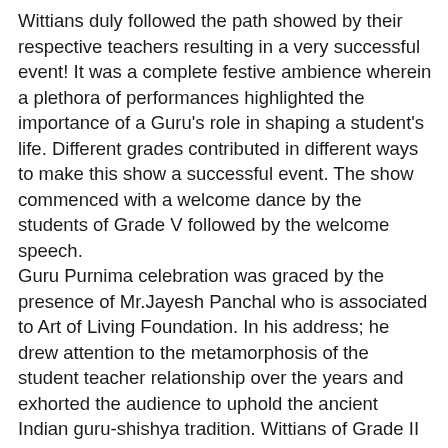Wittians duly followed the path showed by their respective teachers resulting in a very successful event! It was a complete festive ambience wherein a plethora of performances highlighted the importance of a Guru's role in shaping a student's life. Different grades contributed in different ways to make this show a successful event. The show commenced with a welcome dance by the students of Grade V followed by the welcome speech. Guru Purnima celebration was graced by the presence of Mr.Jayesh Panchal who is associated to Art of Living Foundation. In his address; he drew attention to the metamorphosis of the student teacher relationship over the years and exhorted the audience to uphold the ancient Indian guru-shishya tradition. Wittians of Grade II dramatised a poem, both highlighting the importance of Guru in one's life and stating that not only people but even Mother Nature teaches us a lot in life. Grade IV Wittians put up a skit which was enacted beautifully on Arjuna who was motivated by Drona helping him to be the best archer rather than his own son; giving out a message that a Guru keenly observes the potential of students and motivates them accordingly. Students of Grade V dedicated a song to their